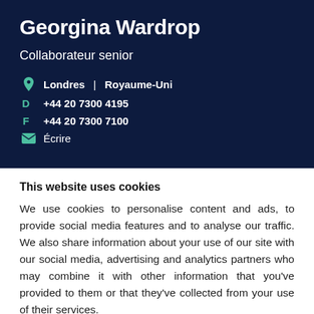Georgina Wardrop
Collaborateur senior
Londres | Royaume-Uni
D +44 20 7300 4195
F +44 20 7300 7100
Écrire
This website uses cookies
We use cookies to personalise content and ads, to provide social media features and to analyse our traffic. We also share information about your use of our site with our social media, advertising and analytics partners who may combine it with other information that you've provided to them or that they've collected from your use of their services.